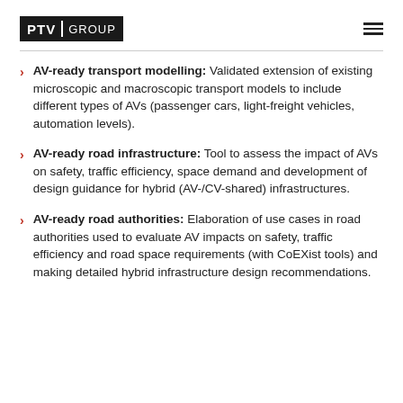PTV GROUP
AV-ready transport modelling: Validated extension of existing microscopic and macroscopic transport models to include different types of AVs (passenger cars, light-freight vehicles, automation levels).
AV-ready road infrastructure: Tool to assess the impact of AVs on safety, traffic efficiency, space demand and development of design guidance for hybrid (AV-/CV-shared) infrastructures.
AV-ready road authorities: Elaboration of use cases in road authorities used to evaluate AV impacts on safety, traffic efficiency and road space requirements (with CoEXist tools) and making detailed hybrid infrastructure design recommendations.